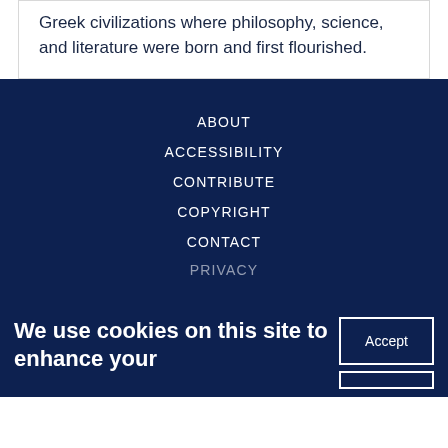Greek civilizations where philosophy, science, and literature were born and first flourished.
ABOUT
ACCESSIBILITY
CONTRIBUTE
COPYRIGHT
CONTACT
PRIVACY
We use cookies on this site to enhance your
Accept